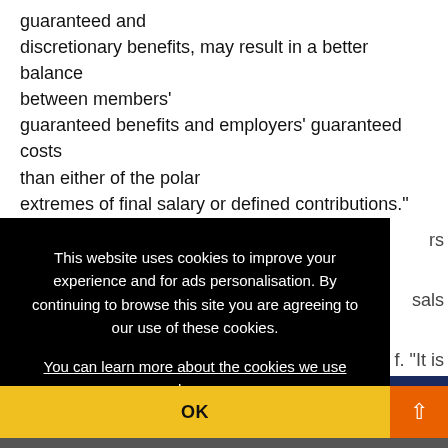guaranteed and discretionary benefits, may result in a better balance between members' guaranteed benefits and employers' guaranteed costs than either of the polar extremes of final salary or defined contributions."
This website uses cookies to improve your experience and for ads personalisation. By continuing to browse this site you are agreeing to our use of these cookies. You can learn more about the cookies we use here.
OK